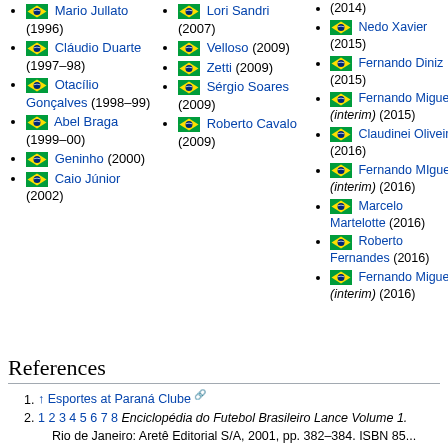Mario Jullato (1996)
Cláudio Duarte (1997–98)
Otacílio Gonçalves (1998–99)
Abel Braga (1999–00)
Geninho (2000)
Caio Júnior (2002)
Lori Sandri (2007)
Velloso (2009)
Zetti (2009)
Sérgio Soares (2009)
Roberto Cavalo (2009)
Nedo Xavier (2015)
Fernando Diniz (2015)
Fernando Miguel (interim) (2015)
Claudinei Oliveira (2016)
Fernando MIguel (interim) (2016)
Marcelo Martelotte (2016)
Roberto Fernandes (2016)
Fernando Miguel (interim) (2016)
References
↑ Esportes at Paraná Clube
1 2 3 4 5 6 7 8 Enciclopédia do Futebol Brasileiro Lance Volume 1. Rio de Janeiro: Aretê Editorial S/A, 2001, pp. 382–384. ISBN 85...